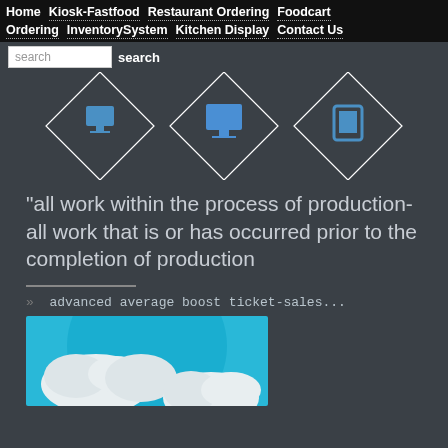Home  Kiosk-Fastfood  Restaurant Ordering  Foodcart Ordering  InventorySystem  Kitchen Display  Contact Us
search  search
[Figure (screenshot): Diamond-shaped navigation icons with blue computer/monitor icons on dark background]
"all work within the process of production- all work that is or has occurred prior to the completion of production
»  advanced average boost ticket-sales...
[Figure (illustration): Blue globe with white cloud icons, partial view cropped at bottom of page]